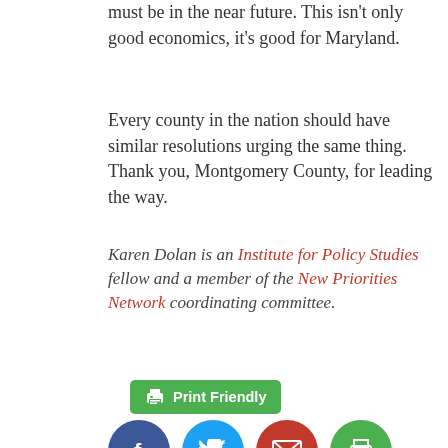must be in the near future. This isn't only good economics, it's good for Maryland.
Every county in the nation should have similar resolutions urging the same thing. Thank you, Montgomery County, for leading the way.
Karen Dolan is an Institute for Policy Studies fellow and a member of the New Priorities Network coordinating committee.
[Figure (other): Green Print Friendly button with printer icon]
[Figure (other): Social sharing icons: Facebook (blue circle), Twitter (light blue circle), Email (red circle), Print (green circle)]
[Figure (photo): Author photo of Karen Dolan, a woman with curly brown hair]
Karen Dolan